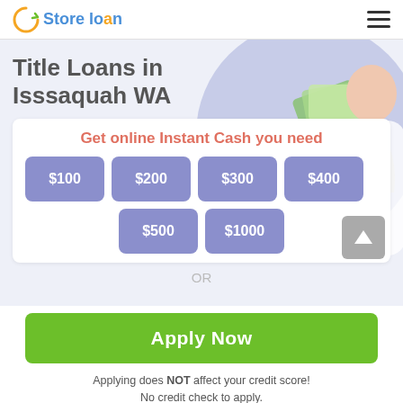Store loan
Title Loans in Isssaquah WA
Get online Instant Cash you need
$100
$200
$300
$400
$500
$1000
OR
Apply Now
Applying does NOT affect your credit score!
No credit check to apply.